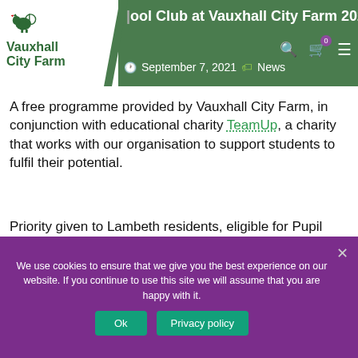pool Club at Vauxhall City Farm 2021
[Figure (logo): Vauxhall City Farm logo with rooster and text]
September 7, 2021  News
A free programme provided by Vauxhall City Farm, in conjunction with educational charity TeamUp, a charity that works with our organisation to support students to fulfil their potential.
Priority given to Lambeth residents, eligible for Pupil Premium funding.
We use cookies to ensure that we give you the best experience on our website. If you continue to use this site we will assume that you are happy with it.
22nd September 2021
Subjects: